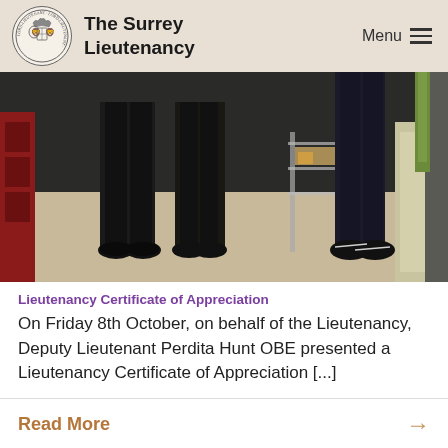The Surrey Lieutenancy  Menu
[Figure (photo): Photograph showing lower halves of people standing indoors; one person in dark uniform trousers and black shoes, another in dark jeans and black trainers with white stripes; a wire shelving unit and bags visible in background.]
Lieutenancy Certificate of Appreciation
On Friday 8th October, on behalf of the Lieutenancy, Deputy Lieutenant Perdita Hunt OBE presented a Lieutenancy Certificate of Appreciation [...]
Read More →